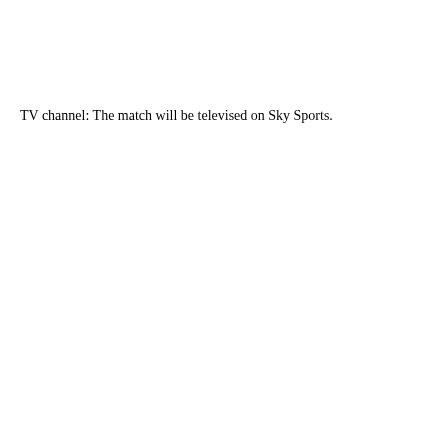TV channel: The match will be televised on Sky Sports.